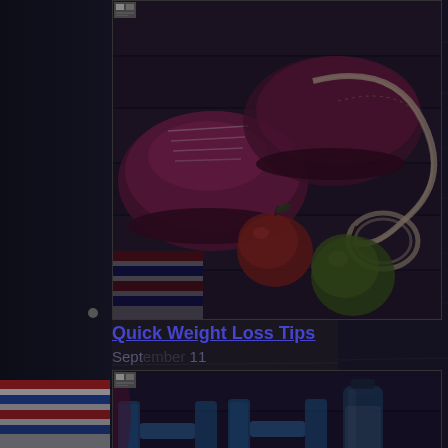[Figure (photo): Overhead view of pink running shoes, a measuring tape, two apples (one red, one green), and exercise items on a dark wooden surface. Fitness/health themed flat lay.]
•
Quick Weight Loss Tips
Sept... 11
[Figure (photo): Overhead view of blue dumbbells and a water bottle on a dark wooden surface. Fitness/exercise themed.]